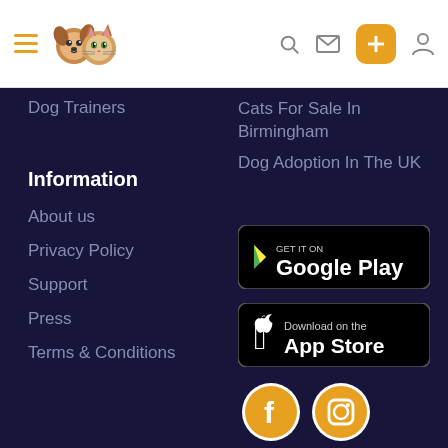Navigation header with logo, search, mail, add, and profile icons
Dog Trainers
Cats For Sale In Birmingham
Dog Adoption In The UK
Information
About us
Privacy Policy
Support
Press
Terms & Conditions
[Figure (logo): GET IT ON Google Play store badge]
[Figure (logo): Download on the App Store badge]
[Figure (logo): Facebook and Instagram social media icons]